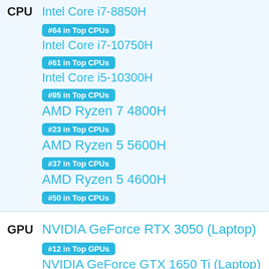CPU Intel Core i7-8850H
#64 in Top CPUs
Intel Core i7-10750H
#61 in Top CPUs
Intel Core i5-10300H
#95 in Top CPUs
AMD Ryzen 7 4800H
#23 in Top CPUs
AMD Ryzen 5 5600H
#37 in Top CPUs
AMD Ryzen 5 4600H
#50 in Top CPUs
GPU NVIDIA GeForce RTX 3050 (Laptop)
#12 in Top GPUs
NVIDIA GeForce GTX 1650 Ti (Laptop)